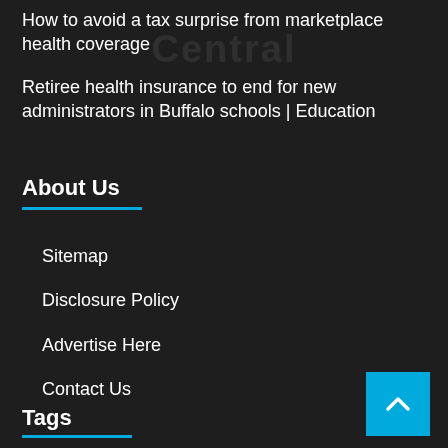How to avoid a tax surprise from marketplace health coverage
Retiree health insurance to end for new administrators in Buffalo schools | Education
About Us
Sitemap
Disclosure Policy
Advertise Here
Contact Us
Tags